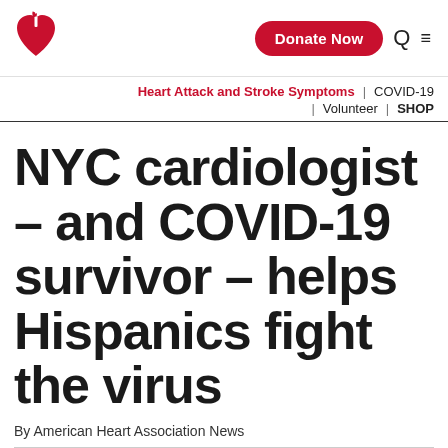[Figure (logo): American Heart Association logo — red flame-topped heart with torch]
Donate Now
Heart Attack and Stroke Symptoms | COVID-19 | Volunteer | SHOP
NYC cardiologist – and COVID-19 survivor – helps Hispanics fight the virus
By American Heart Association News